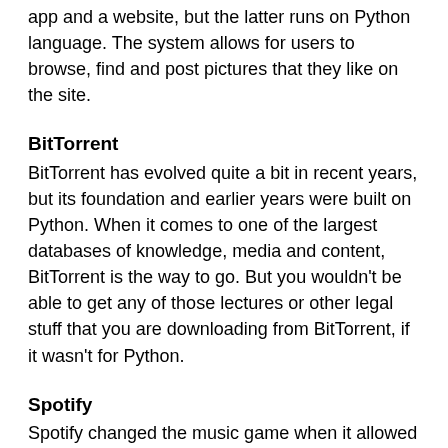app and a website, but the latter runs on Python language. The system allows for users to browse, find and post pictures that they like on the site.
BitTorrent
BitTorrent has evolved quite a bit in recent years, but its foundation and earlier years were built on Python. When it comes to one of the largest databases of knowledge, media and content, BitTorrent is the way to go. But you wouldn't be able to get any of those lectures or other legal stuff that you are downloading from BitTorrent, if it wasn't for Python.
Spotify
Spotify changed the music game when it allowed you to listen to ad-free music of your choice. This wasn't a program where you got to select a playlist, but rather full songs that you